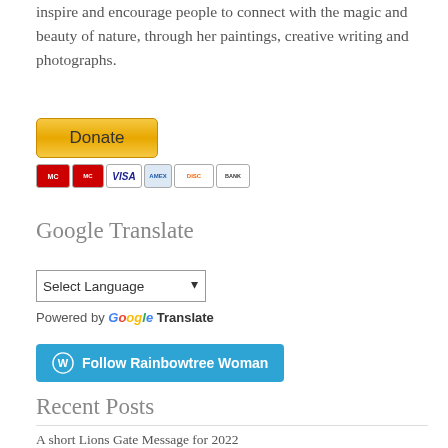inspire and encourage people to connect with the magic and beauty of nature, through her paintings, creative writing and photographs.
[Figure (other): PayPal Donate button with payment method icons (MasterCard, Visa, American Express, Discover, Bank)]
Google Translate
Select Language dropdown and Powered by Google Translate
Follow Rainbowtree Woman button (WordPress)
Recent Posts
A short Lions Gate Message for 2022